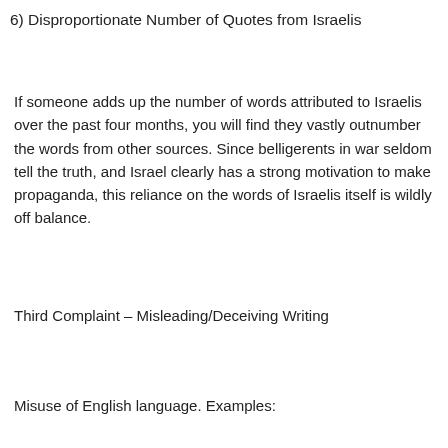6) Disproportionate Number of Quotes from Israelis
If someone adds up the number of words attributed to Israelis over the past four months, you will find they vastly outnumber the words from other sources. Since belligerents in war seldom tell the truth, and Israel clearly has a strong motivation to make propaganda, this reliance on the words of Israelis itself is wildly off balance.
Third Complaint – Misleading/Deceiving Writing
Misuse of English language. Examples: